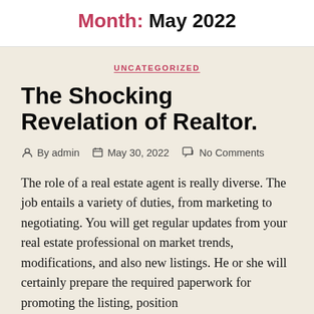Month: May 2022
UNCATEGORIZED
The Shocking Revelation of Realtor.
By admin   May 30, 2022   No Comments
The role of a real estate agent is really diverse. The job entails a variety of duties, from marketing to negotiating. You will get regular updates from your real estate professional on market trends, modifications, and also new listings. He or she will certainly prepare the required paperwork for promoting the listing, position...